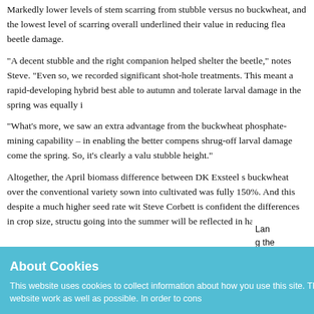Markedly lower levels of stem scarring from stubble versus no buckwheat, and the lowest level of scarring overall underlined their value in reducing flea beetle damage.
"A decent stubble and the right companion helped shelter the beetle," notes Steve. "Even so, we recorded significant shot-hole treatments. This meant a rapid-developing hybrid best able to autumn and tolerate larval damage in the spring was equally i
"What's more, we saw an extra advantage from the buckwheat phosphate-mining capability – in enabling the better compens shrug-off larval damage come the spring. So, it's clearly a valu stubble height."
Altogether, the April biomass difference between DK Exsteel s buckwheat over the conventional variety sown into cultivated was fully 150%. And this despite a much higher seed rate wit Steve Corbett is confident the differences in crop size, structu going into the summer will be reflected in harvest yields.
About Cookies
This website uses cookies to collect information about how you use this site. This information is used to make the website work as well as possible. In order to cons